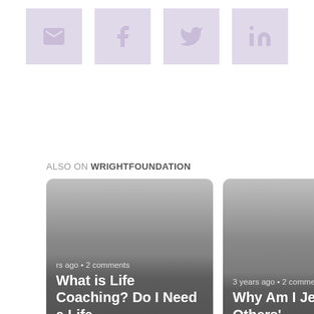[Figure (infographic): Four social sharing icon buttons in light purple/lavender squares: email (envelope), Facebook (f), Twitter (bird), LinkedIn (in)]
ALSO ON WRIGHTFOUNDATION
[Figure (screenshot): Card carousel showing two article preview cards. Left card: 'rs ago • 2 comments' / 'What is Life Coaching? Do I Need a Life ...'. Right card: '3 years ago • 2 comme...' / 'Why Am I Jealous of Others' ...'. Navigation arrows on left and right sides.]